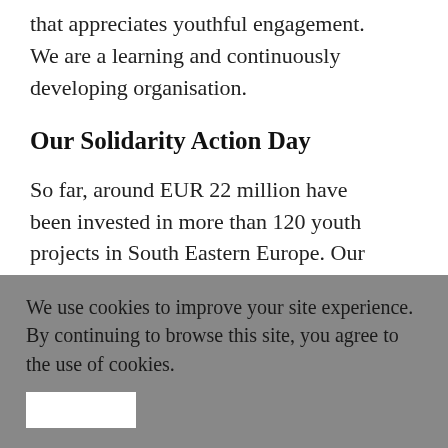that appreciates youthful engagement. We are a learning and continuously developing organisation.
Our Solidarity Action Day
So far, around EUR 22 million have been invested in more than 120 youth projects in South Eastern Europe. Our Solidarity Action Day was firstly implemented in 1998, at first only in one federal state – Schleswig-Holstein –  in the north of Germany and only every two years. Since 2006, schools and students from all over Germany have been able to take part.  In 2018, roughly 70000 students took part in the Action Day and managed to
We use cookies to improve your site experience. By continuing to browse this site, you agree to the use of cookies.